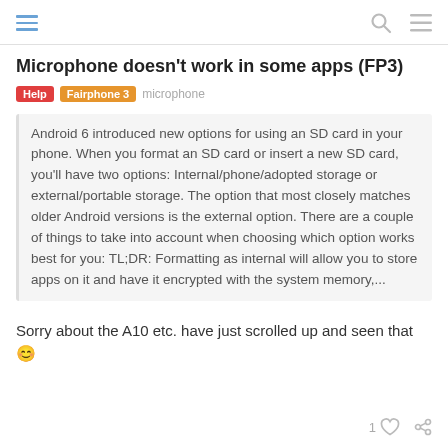Microphone doesn't work in some apps (FP3) [Help] [Fairphone 3] microphone
Microphone doesn't work in some apps (FP3)
Android 6 introduced new options for using an SD card in your phone. When you format an SD card or insert a new SD card, you'll have two options: Internal/phone/adopted storage or external/portable storage. The option that most closely matches older Android versions is the external option. There are a couple of things to take into account when choosing which option works best for you: TL;DR: Formatting as internal will allow you to store apps on it and have it encrypted with the system memory,...
Sorry about the A10 etc. have just scrolled up and seen that 😊
1 ♡ 🔗